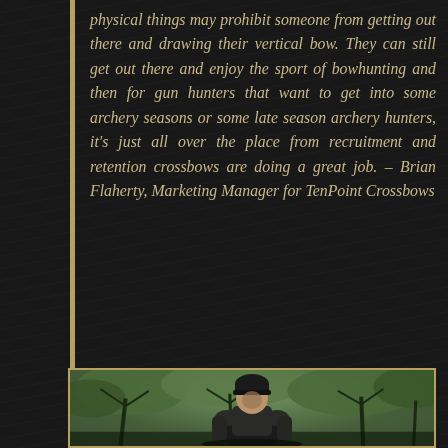physical things may prohibit someone from getting out there and drawing their vertical bow. They can still get out there and enjoy the sport of bowhunting and then for gun hunters that want to get into some archery seasons or some late season archery hunters, it's just all over the place from recruitment and retention crossbows are doing a great job. – Brian Flaherty, Marketing Manager for TenPoint Crossbows
[Figure (photo): A hunter wearing dark winter clothing and a black knit cap sitting outdoors among trees and foliage, viewed from a slight distance.]